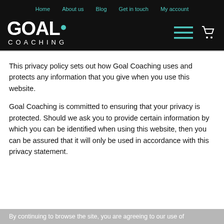Home   About us   Blog   Get in touch   My account
[Figure (logo): Goal Coaching logo — white GOAL text with teal dot, COACHING in spaced caps, on black background. Hamburger menu icon and shopping cart icon on the right.]
This privacy policy sets out how Goal Coaching uses and protects any information that you give when you use this website.
Goal Coaching is committed to ensuring that your privacy is protected. Should we ask you to provide certain information by which you can be identified when using this website, then you can be assured that it will only be used in accordance with this privacy statement.
By continuing to browse the site, you are agreeing to our use of